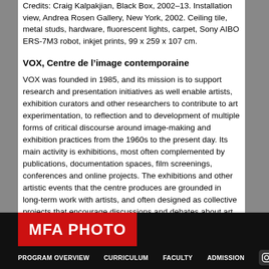Credits: Craig Kalpakjian, Black Box, 2002–13. Installation view, Andrea Rosen Gallery, New York, 2002. Ceiling tile, metal studs, hardware, fluorescent lights, carpet, Sony AIBO ERS-7M3 robot, inkjet prints, 99 x 259 x 107 cm.
VOX, Centre de l’image contemporaine
VOX was founded in 1985, and its mission is to support research and presentation initiatives as well enable artists, exhibition curators and other researchers to contribute to art experimentation, to reflection and to development of multiple forms of critical discourse around image-making and exhibition practices from the 1960s to the present day. Its main activity is exhibitions, most often complemented by publications, documentation spaces, film screenings, conferences and online projects. The exhibitions and other artistic events that the centre produces are grounded in long-term work with artists, and often designed as collective projects that encourage discussions and debates about art and
MFA PHOTO | PROGRAM OVERVIEW | CURRICULUM | FACULTY | ADMISSION